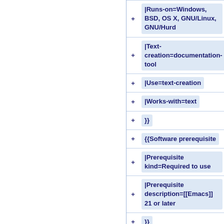| + | content |
| --- | --- |
| + | |Runs-on=Windows, BSD, OS X, GNU/Linux, GNU/Hurd |
| + | |Text-creation=documentation-tool |
| + | |Use=text-creation |
| + | |Works-with=text |
| + | }} |
| + | {{Software prerequisite |
| + | |Prerequisite kind=Required to use |
| + | |Prerequisite description=[[Emacs]] 21 or later |
| + | }} |
| + | {{Software prerequisite |